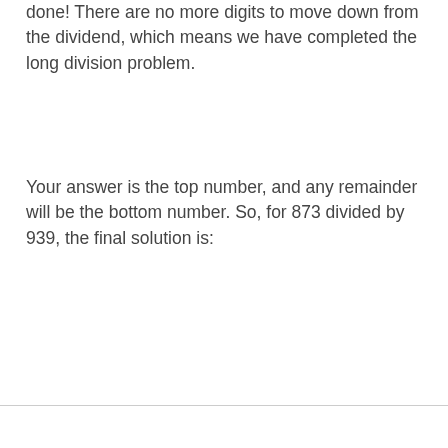done! There are no more digits to move down from the dividend, which means we have completed the long division problem.
Your answer is the top number, and any remainder will be the bottom number. So, for 873 divided by 939, the final solution is: